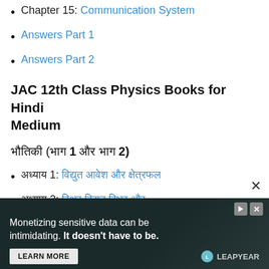Chapter 15: Communication System
Answers Part 1
Answers Part 2
JAC 12th Class Physics Books for Hindi Medium
भौतिकी (भाग 1 और भाग 2)
अध्याय 1: वैद्युत आवेश और क्षेत्र
अध्याय 2: स्थिर वैद्युत विभव और
[Figure (screenshot): Advertisement overlay: 'Monetizing sensitive data can be intimidating. It doesn't have to be.' with LEARN MORE button and LEAPYEAR logo on dark background with close X button.]